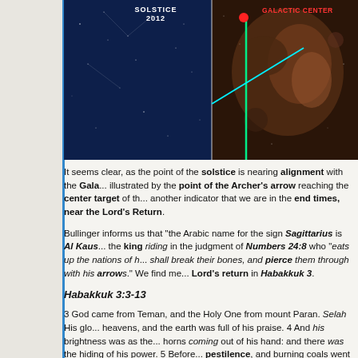[Figure (illustration): Astronomical image showing solstice 2012 alignment with galactic center. Left half is dark blue star field, right half shows galactic center nebula. A red dot marks the galactic center. Green vertical line and cyan diagonal line indicate alignment. Text 'SOLSTICE 2012' and 'GALACTIC CENTER' labeled in white and red respectively.]
It seems clear, as the point of the solstice is nearing alignment with the Galactic Center, illustrated by the point of the Archer's arrow reaching the center target of the... another indicator that we are in the end times, near the Lord's Return.
Bullinger informs us that "the Arabic name for the sign Sagittarius is Al Kaus... the king riding in the judgment of Numbers 24:8 who "eats up the nations of... shall break their bones, and pierce them through with his arrows." We find me... Lord's return in Habakkuk 3.
Habakkuk 3:3-13
3 God came from Teman, and the Holy One from mount Paran. Selah His glo... heavens, and the earth was full of his praise. 4 And his brightness was as the... horns coming out of his hand: and there was the hiding of his power. 5 Before... pestilence, and burning coals went forth at his feet. 6 He stood, and measure... beheld, and drove asunder the nations; and the everlasting mountains were sc... perpetual hills did bow: his ways are everlasting. 7 I saw the tents of Cushan i... curtains of the land of Midian did tremble. 8 Was the LORD displeased again... rivers? Was thine anger against the rivers? Was thy wrath against the sea, th... upon thine horses and thy chariots of salvation? 9 Thy bow was made quite...